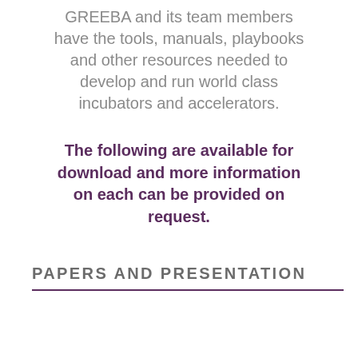GREEBA and its team members have the tools, manuals, playbooks and other resources needed to develop and run world class incubators and accelerators.
The following are available for download and more information on each can be provided on request.
PAPERS AND PRESENTATIONS